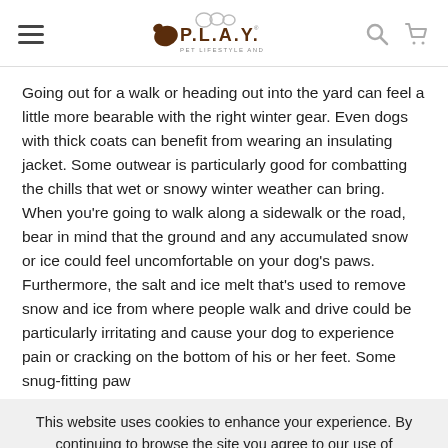[Figure (logo): P.L.A.Y. Pet Lifestyle and You logo with hamburger menu, search and cart icons in the header]
Going out for a walk or heading out into the yard can feel a little more bearable with the right winter gear. Even dogs with thick coats can benefit from wearing an insulating jacket. Some outwear is particularly good for combatting the chills that wet or snowy winter weather can bring. When you're going to walk along a sidewalk or the road, bear in mind that the ground and any accumulated snow or ice could feel uncomfortable on your dog's paws. Furthermore, the salt and ice melt that's used to remove snow and ice from where people walk and drive could be particularly irritating and cause your dog to experience pain or cracking on the bottom of his or her feet. Some snug-fitting paw
This website uses cookies to enhance your experience. By continuing to browse the site you agree to our use of cookies. Find Out More.
[Figure (infographic): Bottom bar with accessibility icon button and Got it, thanks! orange button]